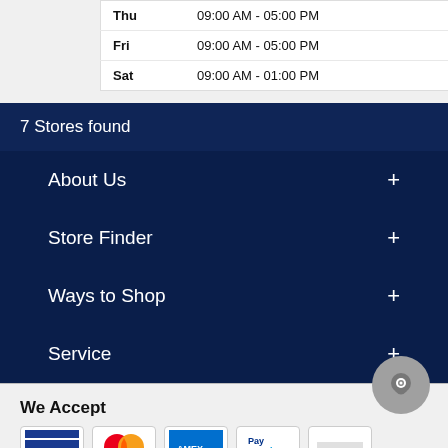| Day | Hours |
| --- | --- |
| Thu | 09:00 AM - 05:00 PM |
| Fri | 09:00 AM - 05:00 PM |
| Sat | 09:00 AM - 01:00 PM |
7 Stores found
About Us +
Store Finder +
Ways to Shop +
Service +
We Accept
[Figure (other): Payment method icons: credit/debit cards, Mastercard, American Express/Visa, PayPal, and another card]